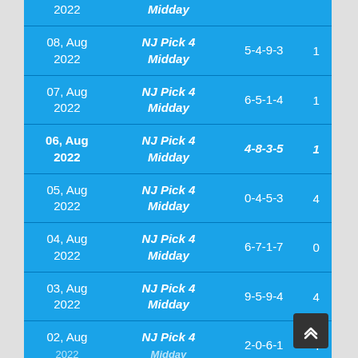| Date | Lottery | Numbers | Matches |
| --- | --- | --- | --- |
| 2022 | Midday |  |  |
| 08, Aug 2022 | NJ Pick 4 Midday | 5-4-9-3 | 1 |
| 07, Aug 2022 | NJ Pick 4 Midday | 6-5-1-4 | 1 |
| 06, Aug 2022 | NJ Pick 4 Midday | 4-8-3-5 | 1 |
| 05, Aug 2022 | NJ Pick 4 Midday | 0-4-5-3 | 4 |
| 04, Aug 2022 | NJ Pick 4 Midday | 6-7-1-7 | 0 |
| 03, Aug 2022 | NJ Pick 4 Midday | 9-5-9-4 | 4 |
| 02, Aug 2022 | NJ Pick 4 Midday | 2-0-6-1 | 4 |